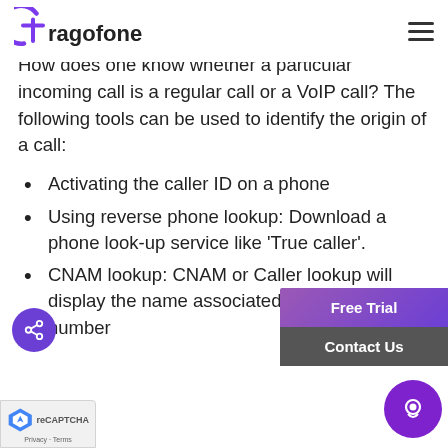Tragofone
How does one know whether a particular incoming call is a regular call or a VoIP call? The following tools can be used to identify the origin of a call:
Activating the caller ID on a phone
Using reverse phone lookup: Download a phone look-up service like 'True caller'.
CNAM lookup: CNAM or Caller lookup will display the name associated against the VoIP number